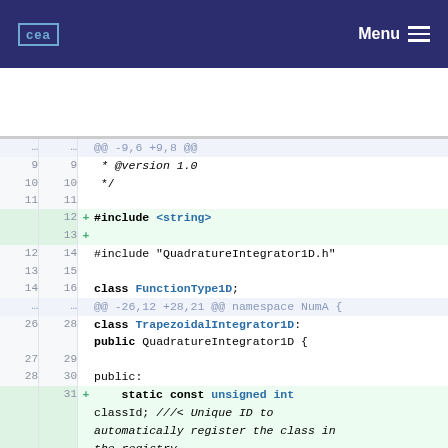CEA Menu
[Figure (screenshot): Code diff view showing a C++ header file with two added lines (#include <string> and a blank line), followed by normal context lines including class FunctionType1D, class TrapezoidalIntegrator1D, and a newly added static const unsigned int classId line with doxygen comment.]